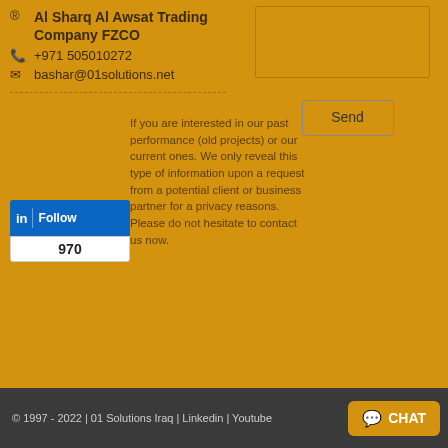® Al Sharq Al Awsat Trading Company FZCO
+971 505010272
bashar@01solutions.net
If you are interested in our past performance (old projects) or our current ones. We only reveal this type of information upon a request from a potential client or business partner for a privacy reasons. Please do not hesitate to contact us now.
[Figure (other): LinkedIn Follow widget showing 970 followers]
[Figure (other): Text area input box for contact form]
Send
© 1997 - 2022 | 01 Solutions Iraq | Linkedin | Youtube
CHAT